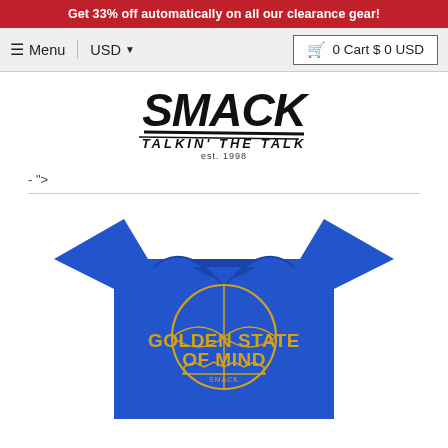Get 33% off automatically on all our clearance gear!
Menu  USD  0 Cart $ 0 USD
[Figure (logo): SMACK Talkin' The Talk est. 1998 logo in bold black brush script font]
- ">
[Figure (photo): Royal blue t-shirt with golden yellow 'GOLDEN STATE OF MIND' basketball graphic and SMACK brand logo]